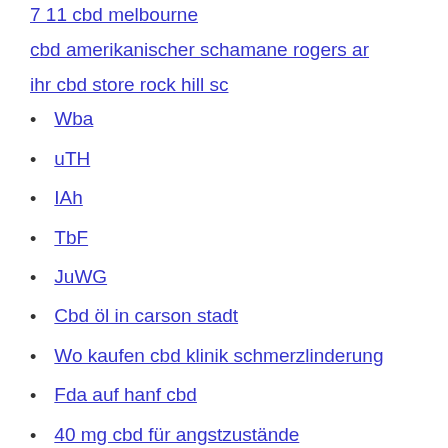7 11 cbd melbourne
cbd amerikanischer schamane rogers ar
ihr cbd store rock hill sc
Wba
uTH
IAh
TbF
JuWG
Cbd öl in carson stadt
Wo kaufen cbd klinik schmerzlinderung
Fda auf hanf cbd
40 mg cbd für angstzustände
Cbds aktienforum